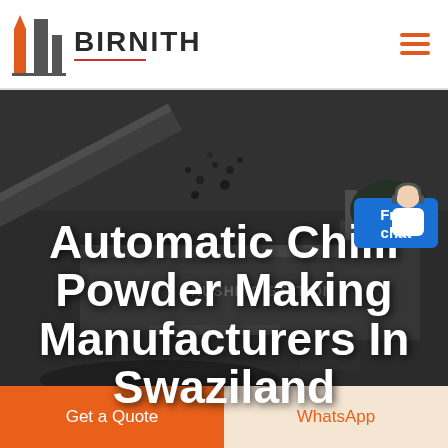[Figure (logo): Birnith company logo with orange building/pillars icon and brand name BIRNITH in bold dark letters with red underline, and hamburger menu icon on right]
[Figure (photo): Industrial crushing station machinery in dark grayscale background with heavy equipment, conveyor belts and crushed material being processed. Text overlay reads 'CRUSHING STATION' on machinery.]
Automatic Chilli Powder Making Manufacturers In Swaziland
[Figure (illustration): Customer service agent icon with blue background labeled 'Free chat']
Get a Quote
WhatsApp